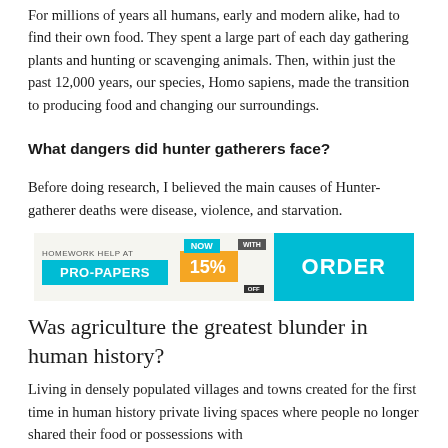For millions of years all humans, early and modern alike, had to find their own food. They spent a large part of each day gathering plants and hunting or scavenging animals. Then, within just the past 12,000 years, our species, Homo sapiens, made the transition to producing food and changing our surroundings.
What dangers did hunter gatherers face?
Before doing research, I believed the main causes of Hunter-gatherer deaths were disease, violence, and starvation.
[Figure (infographic): Advertisement banner for Pro-Papers homework help service showing teal PRO-PAPERS logo, a badge showing NOW WITH 15% OFF, and a teal ORDER button.]
Was agriculture the greatest blunder in human history?
Living in densely populated villages and towns created for the first time in human history private living spaces where people no longer shared their food or possessions with